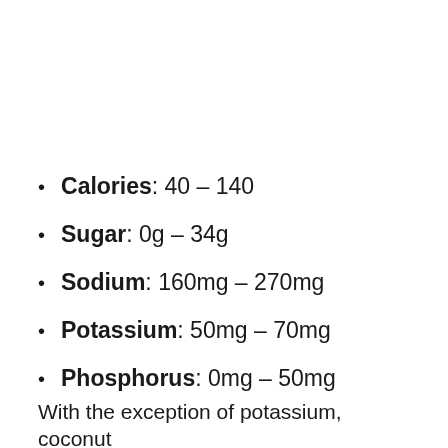Calories: 40 – 140
Sugar: 0g – 34g
Sodium: 160mg – 270mg
Potassium: 50mg – 70mg
Phosphorus: 0mg – 50mg
With the exception of potassium, coconut